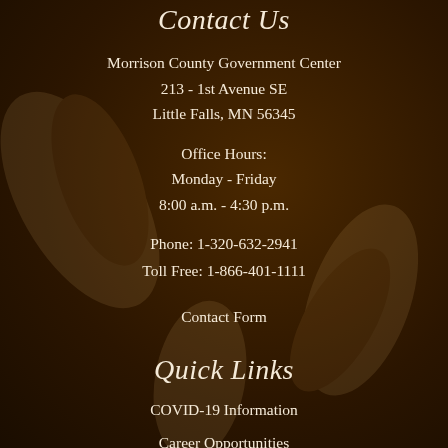Contact Us
Morrison County Government Center
213 - 1st Avenue SE
Little Falls, MN 56345
Office Hours:
Monday - Friday
8:00 a.m. - 4:30 p.m.
Phone: 1-320-632-2941
Toll Free: 1-866-401-1111
Contact Form
Quick Links
COVID-19 Information
Career Opportunities